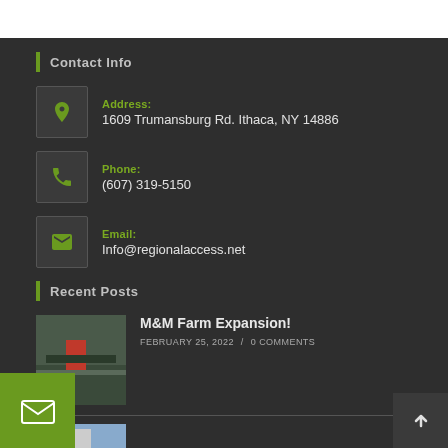Contact Info
Address: 1609 Trumansburg Rd. Ithaca, NY 14886
Phone: (607) 319-5150
Email: Info@regionalaccess.net
Recent Posts
M&M Farm Expansion!
FEBRUARY 25, 2022 / 0 COMMENTS